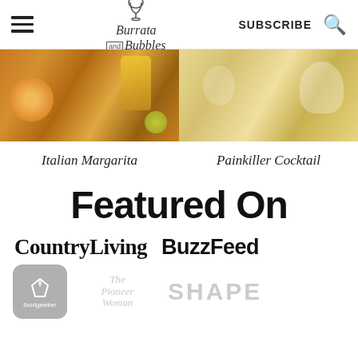Burrata and Bubbles — SUBSCRIBE
[Figure (photo): Two food/drink images side by side: left shows cocktail with citrus, right shows beverage with ice]
Italian Margarita
Painkiller Cocktail
Featured On
[Figure (logo): CountryLiving and BuzzFeed logos]
[Figure (logo): Foodgawker, The Pioneer Woman, and SHAPE logos]